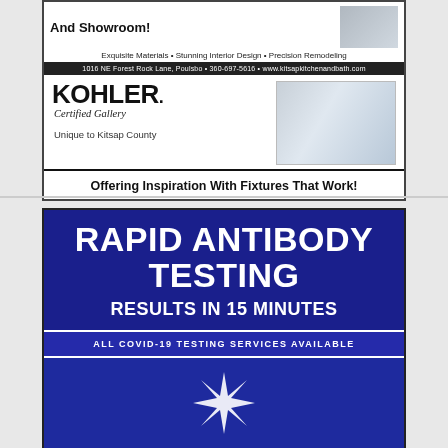[Figure (infographic): Kitsap Kitchen and Bath advertisement featuring KOHLER Certified Gallery. Top section shows text 'And Showroom!' with bathroom photo. Subline: 'Exquisite Materials • Stunning Interior Design • Precision Remodeling'. Address bar: '1016 NE Forest Rock Lane, Poulsbo • 360-697-5616 • www.kitsapkitchenandbath.com'. Kohler section with logo, 'Certified Gallery' italic, 'Unique to Kitsap County', bathroom photo. Footer: 'Offering Inspiration With Fixtures That Work!']
[Figure (infographic): North Star Clinic LLC advertisement on dark blue background. Large bold white text: 'RAPID ANTIBODY TESTING'. Below: 'RESULTS IN 15 MINUTES'. Lighter blue bar: 'ALL COVID-19 TESTING SERVICES AVAILABLE'. Star logo and 'NORTH STAR CLINIC, LLC' at bottom.]